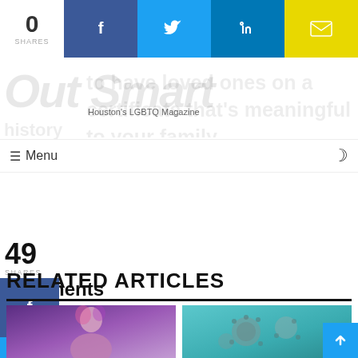0 SHARES | Facebook | Twitter | LinkedIn | Email
[Figure (logo): Out Smart - Houston's LGBTQ Magazine logo with faded large text]
to have ... loved ones on a certificate that's meaningful to your family history
Menu (hamburger icon) | Moon icon (dark mode)
49 SHARES Comments
[Figure (other): Facebook share button (blue)]
[Figure (other): Twitter share button (light blue)]
[Figure (other): LinkedIn share button (dark blue)]
RELATED ARTICLES
[Figure (photo): Young person with pink/purple hair against purple background]
[Figure (photo): Virus or coral-like organism against teal/aqua background]